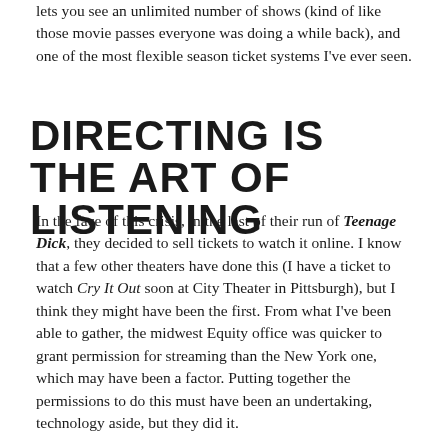lets you see an unlimited number of shows (kind of like those movie passes everyone was doing a while back), and one of the most flexible season ticket systems I've ever seen.
DIRECTING IS THE ART OF LISTENING
In the face of this crisis, in the last of their run of Teenage Dick, they decided to sell tickets to watch it online. I know that a few other theaters have done this (I have a ticket to watch Cry It Out soon at City Theater in Pittsburgh), but I think they might have been the first. From what I've been able to gather, the midwest Equity office was quicker to grant permission for streaming than the New York one, which may have been a factor. Putting together the permissions to do this must have been an undertaking, technology aside, but they did it.